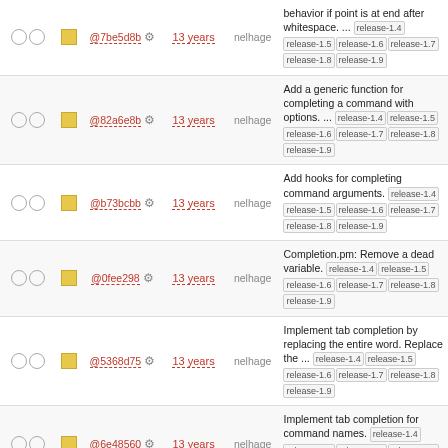|  |  | hash | age | author | description |
| --- | --- | --- | --- | --- | --- |
| ○ ○ | ■ | @7be5d8b ⚙ | 13 years | nelhage | behavior if point is at end after whitespace. ... release-1.4 release-1.5 release-1.6 release-1.7 release-1.8 release-1.9 |
| ○ ○ | ■ | @82a6e8b ⚙ | 13 years | nelhage | Add a generic function for completing a command with options. ... release-1.4 release-1.5 release-1.6 release-1.7 release-1.8 release-1.9 |
| ○ ○ | ■ | @b73bcbb ⚙ | 13 years | nelhage | Add hooks for completing command arguments. release-1.4 release-1.5 release-1.6 release-1.7 release-1.8 release-1.9 |
| ○ ○ | ■ | @0fee298 ⚙ | 13 years | nelhage | Completion.pm: Remove a dead variable. release-1.4 release-1.5 release-1.6 release-1.7 release-1.8 release-1.9 |
| ○ ○ | ■ | @5368d75 ⚙ | 13 years | nelhage | Implement tab completion by replacing the entire word. Replace the ... release-1.4 release-1.5 release-1.6 release-1.7 release-1.8 release-1.9 |
| ○ ○ | ■ | @6e48560 ⚙ | 13 years | nelhage | Implement tab completion for command names. release-1.4 release-1.5 release-1.6 release-1.7 release-1.8 release-1.9 |
| ○ ○ | ■ | @d7bcff8 ⚙ | 13 years | nelhage | Keep a global list of all defined command names. release-1.4 release-1.5 release- |